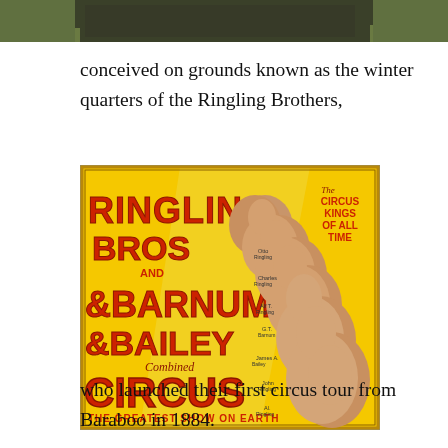[Figure (photo): Top portion of a photograph showing grass and what appears to be a sign or structure, partially cropped]
conceived on grounds known as the winter quarters of the Ringling Brothers,
[Figure (illustration): Ringling Bros and Barnum & Bailey Combined Circus poster titled 'The Greatest Show on Earth' featuring portraits of the Ringling brothers on a yellow background with red text. Subtitle reads 'The Circus Kings of All Time']
who launched their first circus tour from Baraboo in 1884.